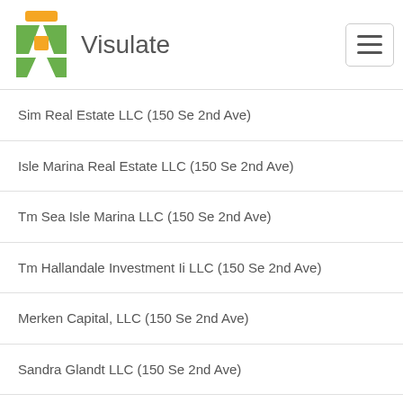Visulate
Sim Real Estate LLC (150 Se 2nd Ave)
Isle Marina Real Estate LLC (150 Se 2nd Ave)
Tm Sea Isle Marina LLC (150 Se 2nd Ave)
Tm Hallandale Investment Ii LLC (150 Se 2nd Ave)
Merken Capital, LLC (150 Se 2nd Ave)
Sandra Glandt LLC (150 Se 2nd Ave)
Grand Vision Construction LLC (150 Se 2nd Ave)
Sixto Realty Group, LLC (150 Se 2nd Ave)
2s Marketing Communications LLC (150 Se 2nd Ave)
Aequitas Fund, LLC (150 Se 2nd Ave)